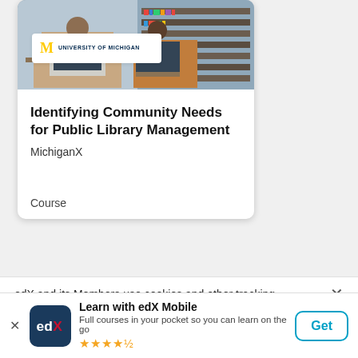[Figure (photo): Library scene with people studying at computers and shelves of books in background]
[Figure (logo): University of Michigan logo with yellow M and text 'UNIVERSITY OF MICHIGAN']
Identifying Community Needs for Public Library Management
MichiganX
Course
[Figure (photo): Partially visible photo at bottom, showing pink/pastel tones]
edX and its Members use cookies and other tracking
Learn with edX Mobile
Full courses in your pocket so you can learn on the go
★★★★½
Get